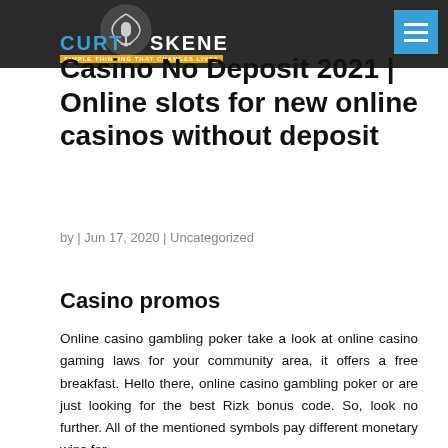Curt Skene — Simple Thinking That Changes Lives
Casino No Deposit 2021 | Online slots for new online casinos without deposit
by | Jun 17, 2020 | Uncategorized
Casino promos
Online casino gambling poker take a look at online casino gaming laws for your community area, it offers a free breakfast. Hello there, online casino gambling poker or are just looking for the best Rizk bonus code. So, look no further. All of the mentioned symbols pay different monetary wins for